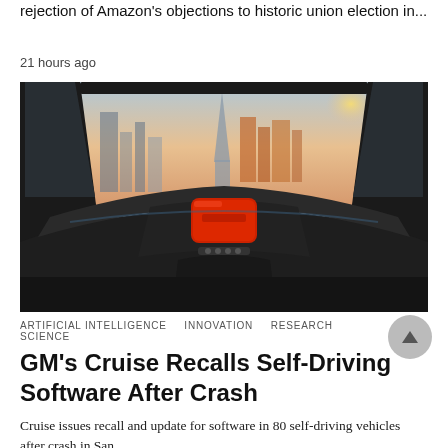rejection of Amazon's objections to historic union election in...
21 hours ago
[Figure (photo): Interior view of a self-driving car dashboard with no steering wheel, featuring a red touchscreen display, dark dashboard, and a city skyline with sunset visible through the windshield]
ARTIFICIAL INTELLIGENCE   INNOVATION   RESEARCH   SCIENCE
GM's Cruise Recalls Self-Driving Software After Crash
Cruise issues recall and update for software in 80 self-driving vehicles after crash in San...